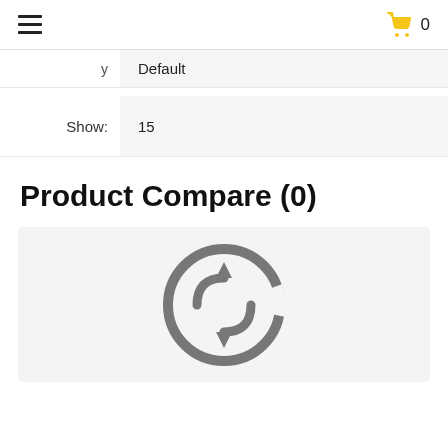☰  🛒 0
Default
Show: 15
Product Compare (0)
[Figure (other): Empty product compare icon — a circular spinner/refresh icon in gray, indicating no products in the comparison list]